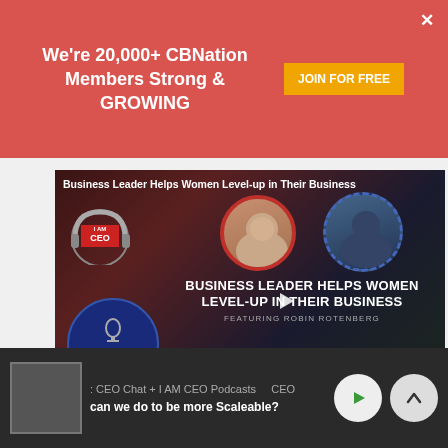We're 20,000+ CBNation Members Strong & GROWING  JOIN FOR FREE
[Figure (screenshot): Podcast thumbnail: Business Leader Helps Women Level-up in Their Business, I AM CEO, IAM845, Season 3 Episode 845, featuring Robin Rotenberg]
[Figure (screenshot): Second podcast thumbnail partially visible, I AM CEO branding]
: CEO Chat + I AM CEO Podcasts  CEO  can we do to be more Scaleable?